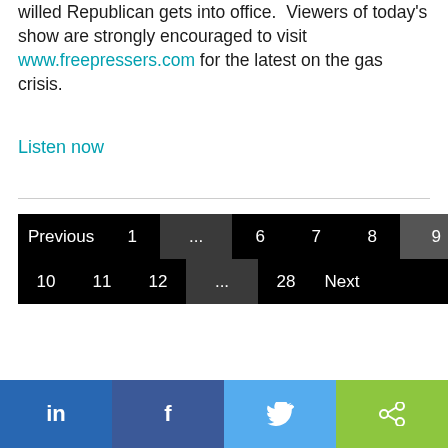willed Republican gets into office.  Viewers of today's show are strongly encouraged to visit www.freepressers.com for the latest on the gas crisis.
Listen now
[Figure (other): Pagination navigation bar on black background showing: Previous 1 ... 6 7 8 9 (row 1) and 10 11 12 ... 28 Next (row 2)]
[Figure (other): Social sharing footer bar with four buttons: LinkedIn (blue), Facebook (dark blue), Twitter (light blue), Share (green)]